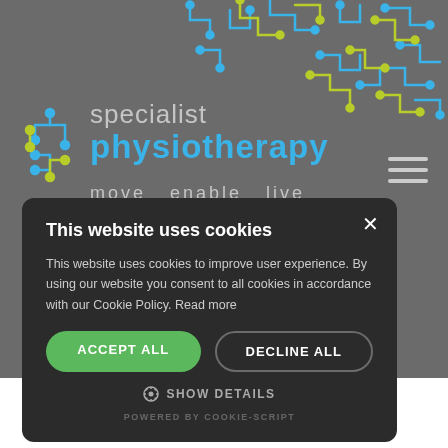[Figure (screenshot): Specialist Physiotherapy website header with grey background, circuit board pattern in blue and yellow-green, logo with icon and text 'specialist physiotherapy', and hamburger menu icon]
This website uses cookies
This website uses cookies to improve user experience. By using our website you consent to all cookies in accordance with our Cookie Policy. Read more
ACCEPT ALL
DECLINE ALL
SHOW DETAILS
POWERED BY COOKIE-SCRIPT
"My Dad's progress has been very